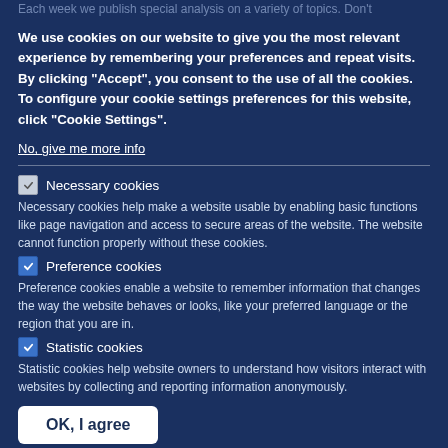Each week we publish special analysis on a variety of topics. Don't
We use cookies on our website to give you the most relevant experience by remembering your preferences and repeat visits. By clicking "Accept", you consent to the use of all the cookies. To configure your cookie settings preferences for this website, click "Cookie Settings".
No, give me more info
Necessary cookies - Necessary cookies help make a website usable by enabling basic functions like page navigation and access to secure areas of the website. The website cannot function properly without these cookies.
Preference cookies - Preference cookies enable a website to remember information that changes the way the website behaves or looks, like your preferred language or the region that you are in.
Statistic cookies - Statistic cookies help website owners to understand how visitors interact with websites by collecting and reporting information anonymously.
OK, I agree
Accept all cookies